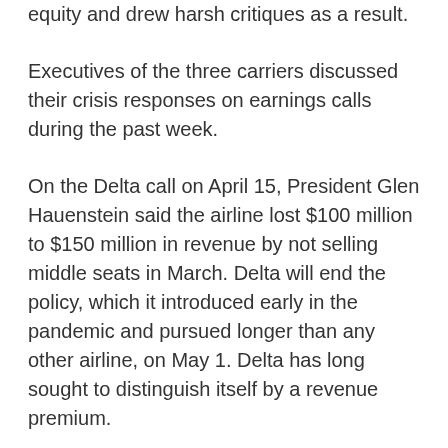equity and drew harsh critiques as a result.
Executives of the three carriers discussed their crisis responses on earnings calls during the past week.
On the Delta call on April 15, President Glen Hauenstein said the airline lost $100 million to $150 million in revenue by not selling middle seats in March. Delta will end the policy, which it introduced early in the pandemic and pursued longer than any other airline, on May 1. Delta has long sought to distinguish itself by a revenue premium.
“Our brand came out of this very